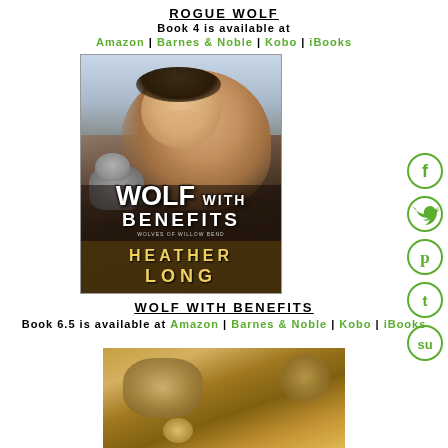ROGUE WOLF
Book 4 is available at
Amazon | Barnes & Noble | Kobo | iBooks
[Figure (photo): Book cover for Wolf With Benefits by Heather Long showing a shirtless young man with dark hair, a wolf in the background, forest setting. Title text: WOLF WITH BENEFITS, WOLVES OF WILLOW BEND, HEATHER LONG.]
[Figure (illustration): Social media icons on right side: Facebook, Twitter, Pinterest, Tumblr, StumbleUpon — green outlined circles with white symbols.]
WOLF WITH BENEFITS
Book 6.5 is available at Amazon | Barnes & Noble | Kobo | iBooks
[Figure (photo): Partial bottom image showing a wolf or animal in warm golden tones, cropped at bottom of page.]